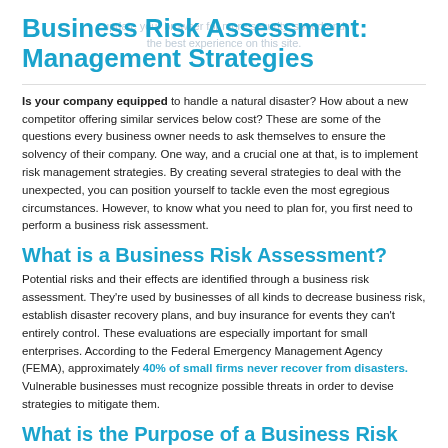Business Risk Assessment: Management Strategies
Is your company equipped to handle a natural disaster? How about a new competitor offering similar services below cost? These are some of the questions every business owner needs to ask themselves to ensure the solvency of their company. One way, and a crucial one at that, is to implement risk management strategies. By creating several strategies to deal with the unexpected, you can position yourself to tackle even the most egregious circumstances. However, to know what you need to plan for, you first need to perform a business risk assessment.
What is a Business Risk Assessment?
Potential risks and their effects are identified through a business risk assessment. They're used by businesses of all kinds to decrease business risk, establish disaster recovery plans, and buy insurance for events they can't entirely control. These evaluations are especially important for small enterprises. According to the Federal Emergency Management Agency (FEMA), approximately 40% of small firms never recover from disasters. Vulnerable businesses must recognize possible threats in order to devise strategies to mitigate them.
What is the Purpose of a Business Risk